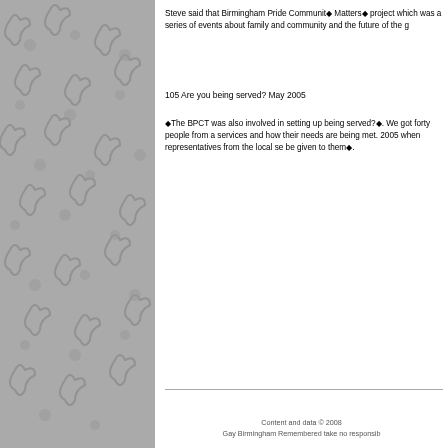Steve said that Birmingham Pride Community Matters◆ project which was a series of events about family and community and the future of the g
105 Are you being served? May 2005
◆The BPCT was also involved in setting up being served?◆. We got forty people from a services and how their needs are being met. 2005 when representatives from the local se be given to them◆.
Content and data © 2008
Gay Birmingham Remembered take no responsib